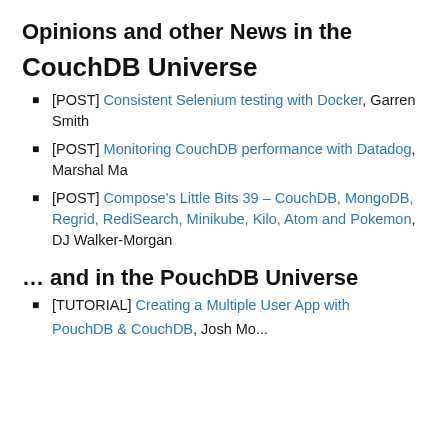Opinions and other News in the
CouchDB Universe
[POST] Consistent Selenium testing with Docker, Garren Smith
[POST] Monitoring CouchDB performance with Datadog, Marshal Ma
[POST] Compose's Little Bits 39 – CouchDB, MongoDB, Regrid, RediSearch, Minikube, Kilo, Atom and Pokemon, DJ Walker-Morgan
… and in the PouchDB Universe
[TUTORIAL] Creating a Multiple User App with PouchDB & CouchDB, Josh Mo...